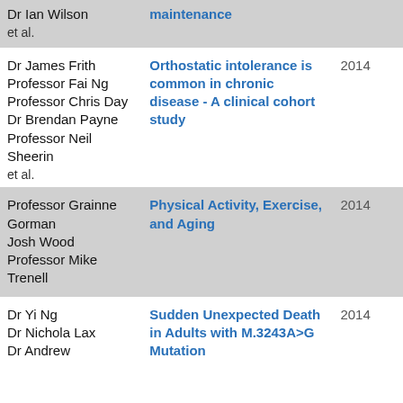| Authors | Title | Year |
| --- | --- | --- |
| Dr Ian Wilson
et al. | maintenance |  |
| Dr James Frith
Professor Fai Ng
Professor Chris Day
Dr Brendan Payne
Professor Neil Sheerin
et al. | Orthostatic intolerance is common in chronic disease - A clinical cohort study | 2014 |
| Professor Grainne Gorman
Josh Wood
Professor Mike Trenell | Physical Activity, Exercise, and Aging | 2014 |
| Dr Yi Ng
Dr Nichola Lax
Dr Andrew | Sudden Unexpected Death in Adults with M.3243A>G Mutation | 2014 |